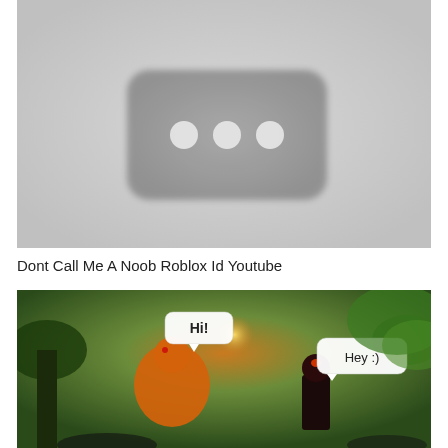[Figure (photo): A blurred/placeholder YouTube video thumbnail showing a rounded rectangle shape with three white dots, on a light gray background.]
Dont Call Me A Noob Roblox Id Youtube
[Figure (screenshot): A Roblox game scene set in a forested environment with large mushrooms. Two Roblox characters are shown, one with a speech bubble saying 'Hi!' and another with a speech bubble saying 'Hey :)'. The scene has warm golden lighting from a glowing object in the background.]